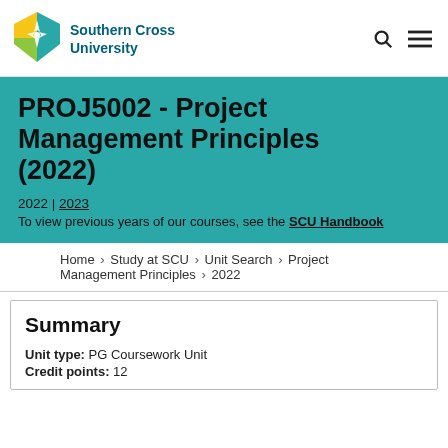[Figure (logo): Southern Cross University logo with geometric diamond shield in yellow and green, next to the university name in dark teal bold text]
PROJ5002 - Project Management Principles (2022)
2022 | 2023
To view previous years of our courses, see the SCU Handbook
Home > Study at SCU > Unit Search > Project Management Principles > 2022
Summary
Unit type: PG Coursework Unit
Credit points: 12